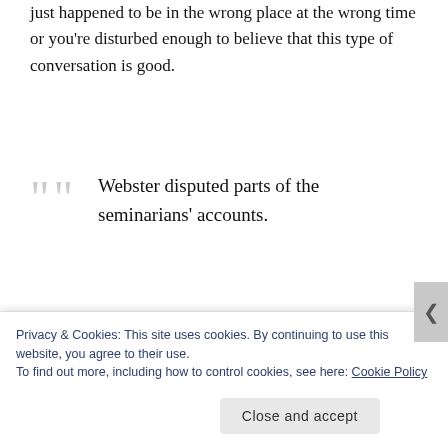just happened to be in the wrong place at the wrong time or you're disturbed enough to believe that this type of conversation is good.
Webster disputed parts of the seminarians' accounts.
“That report says that they felt forced to stay and fed drinks,” Webster said. “That was not the case.”
Really, Fr. Webster? You may have missed something.
Privacy & Cookies: This site uses cookies. By continuing to use this website, you agree to their use.
To find out more, including how to control cookies, see here: Cookie Policy
Close and accept